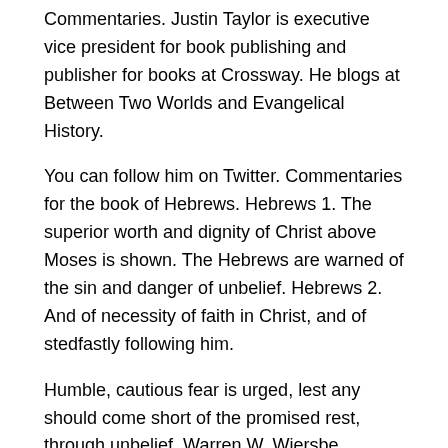Commentaries. Justin Taylor is executive vice president for book publishing and publisher for books at Crossway. He blogs at Between Two Worlds and Evangelical History.
You can follow him on Twitter. Commentaries for the book of Hebrews. Hebrews 1. The superior worth and dignity of Christ above Moses is shown. The Hebrews are warned of the sin and danger of unbelief. Hebrews 2. And of necessity of faith in Christ, and of stedfastly following him.
Humble, cautious fear is urged, lest any should come short of the promised rest, through unbelief. Warren W. Wiersbe. Warren W. Wiersbe. David C Cook / Hardcover. $ Save 68% 5 Stars Out Of 5. Availability: In Stock.
Stock No: WW Add To Wishlist. The Moody Bible Commentary. Michael Rydelnik., Michael Vanlaningham. Michael Rydelnik, Michael Vanlaningham. Moody Publishers / / Hardcover. $ Save 40% Stars Out Of 5. The best Ruth commentaries are listed below.
The commentaries listed first are those that have received the best